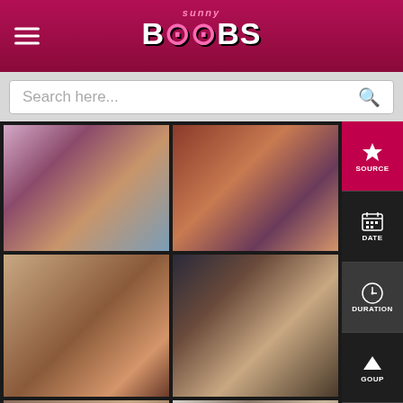Sunny Boobs - website header with logo and hamburger menu
Search here...
[Figure (screenshot): Grid of video thumbnails with adult content sidebar navigation showing SOURCE, DATE, DURATION, GOUP options]